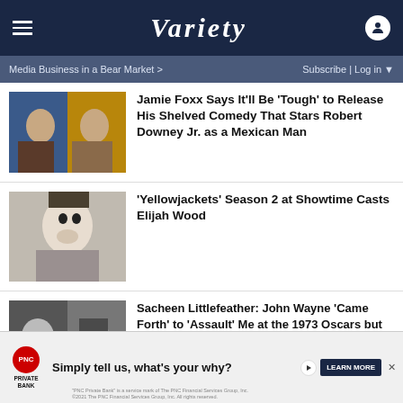Variety
Media Business in a Bear Market >   Subscribe | Log in
Jamie Foxx Says It'll Be 'Tough' to Release His Shelved Comedy That Stars Robert Downey Jr. as a Mexican Man
'Yellowjackets' Season 2 at Showtime Casts Elijah Wood
Sacheen Littlefeather: John Wayne 'Came Forth' to 'Assault' Me at the 1973 Oscars but Was 'Restrained by Six Security Men'
[Figure (other): PNC Private Bank advertisement banner]